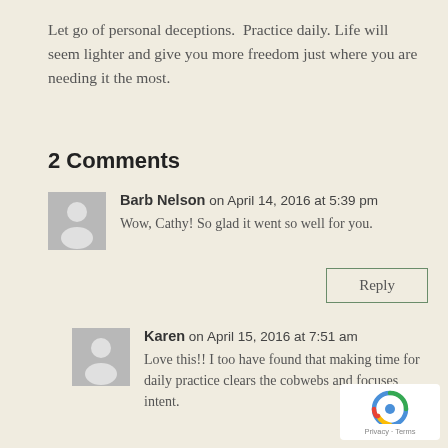Let go of personal deceptions.  Practice daily. Life will seem lighter and give you more freedom just where you are needing it the most.
2 Comments
Barb Nelson on April 14, 2016 at 5:39 pm
Wow, Cathy! So glad it went so well for you.
Reply
Karen on April 15, 2016 at 7:51 am
Love this!! I too have found that making time for daily practice clears the cobwebs and focuses intent.